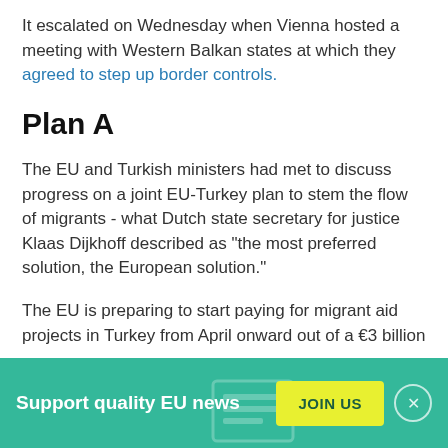It escalated on Wednesday when Vienna hosted a meeting with Western Balkan states at which they agreed to step up border controls.
Plan A
The EU and Turkish ministers had met to discuss progress on a joint EU-Turkey plan to stem the flow of migrants - what Dutch state secretary for justice Klaas Dijkhoff described as “the most preferred solution, the European solution.”
The EU is preparing to start paying for migrant aid projects in Turkey from April onward out of a €3 billion
Support quality EU news
JOIN US